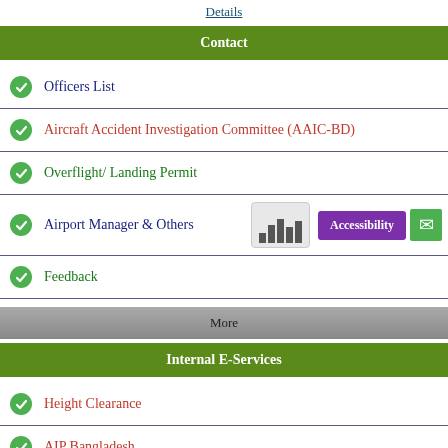Details
Contact
Officers List
Aircraft Accident Investigation Committee (AAIC-BD)
Overflight/ Landing Permit
Airport Manager & Others
Feedback
More
Internal E-Services
Height Clearance
AIP Bangladesh
Official Forms